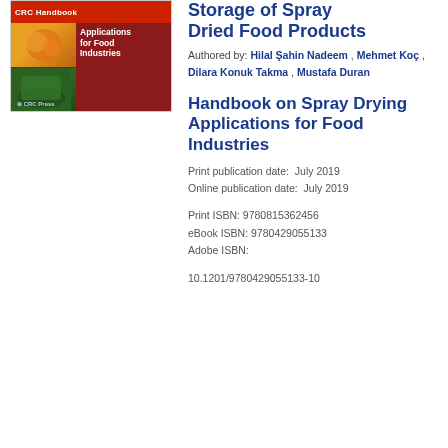[Figure (illustration): Book cover for Handbook on Spray Drying Applications for Food Industries, showing food images and red background with CRC Press logo]
Storage of Spray Dried Food Products
Authored by: Hilal Şahin Nadeem , Mehmet Koç , Dilara Konuk Takma , Mustafa Duran
Handbook on Spray Drying Applications for Food Industries
Print publication date:  July 2019
Online publication date:  July 2019
Print ISBN: 9780815362456
eBook ISBN: 9780429055133
Adobe ISBN:
10.1201/9780429055133-10